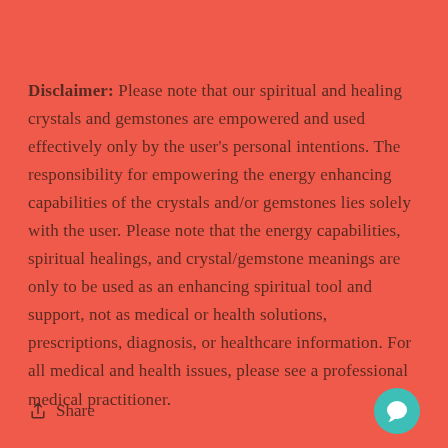Disclaimer: Please note that our spiritual and healing crystals and gemstones are empowered and used effectively only by the user's personal intentions. The responsibility for empowering the energy enhancing capabilities of the crystals and/or gemstones lies solely with the user. Please note that the energy capabilities, spiritual healings, and crystal/gemstone meanings are only to be used as an enhancing spiritual tool and support, not as medical or health solutions, prescriptions, diagnosis, or healthcare information. For all medical and health issues, please see a professional medical practitioner.
Share